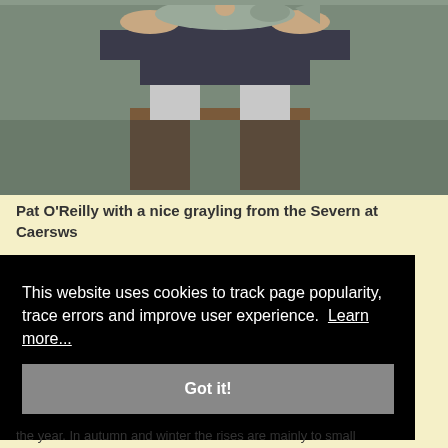[Figure (photo): A person standing in a river wearing waders, holding up a grayling fish with both hands. The background shows a river bank.]
Pat O'Reilly with a nice grayling from the Severn at Caersws
the y and rarely pecies, nsects on Blue are the mmer ter in the year. In autumn and winter the rises are mainly to small
This website uses cookies to track page popularity, trace errors and improve user experience. Learn more... Got it!